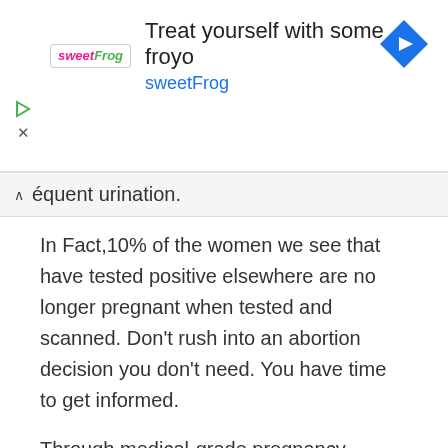[Figure (screenshot): sweetFrog advertisement banner: 'Treat yourself with some froyo sweetFrog' with logo and blue diamond arrow icon]
équent urination.
In Fact,10% of the women we see that have tested positive elsewhere are no longer pregnant when tested and scanned. Don't rush into an abortion decision you don't need. You have time to get informed.
Through medical-grade pregnancy testing, A Woman's Clinic can accurately confirm your pregnancy. We may also